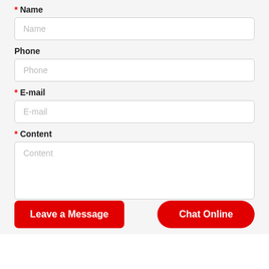* Name
Phone
* E-mail
* Content
Leave a Message
Chat Online